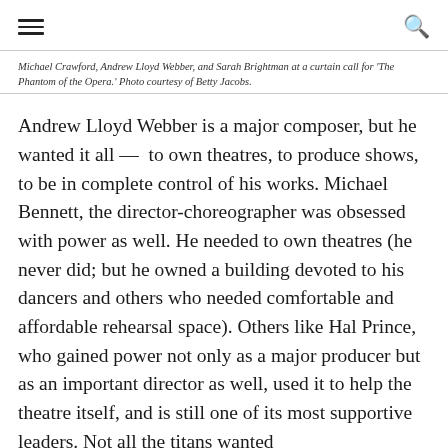[hamburger menu] [search icon]
Michael Crawford, Andrew Lloyd Webber, and Sarah Brightman at a curtain call for 'The Phantom of the Opera.' Photo courtesy of Betty Jacobs.
Andrew Lloyd Webber is a major composer, but he wanted it all —  to own theatres, to produce shows, to be in complete control of his works. Michael Bennett, the director-choreographer was obsessed with power as well. He needed to own theatres (he never did; but he owned a building devoted to his dancers and others who needed comfortable and affordable rehearsal space). Others like Hal Prince, who gained power not only as a major producer but as an important director as well, used it to help the theatre itself, and is still one of its most supportive leaders. Not all the titans wanted